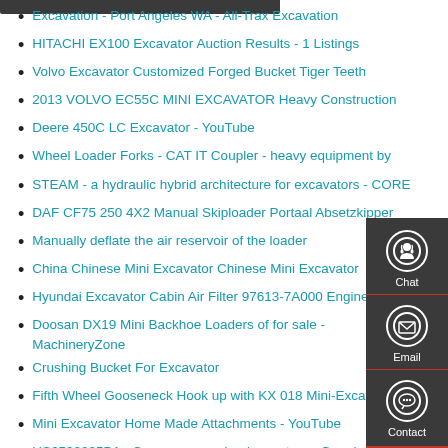Excavation - Port Angeles WA - All-Trax Excavation
HITACHI EX100 Excavator Auction Results - 1 Listings
Volvo Excavator Customized Forged Bucket Tiger Teeth
2013 VOLVO EC55C MINI EXCAVATOR Heavy Construction
Deere 450C LC Excavator - YouTube
Wheel Loader Forks - CAT IT Coupler - heavy equipment by
STEAM - a hydraulic hybrid architecture for excavators - CORE
DAF CF75 250 4X2 Manual Skiploader Portaal Absetzkipper
Manually deflate the air reservoir of the loader
China Chinese Mini Excavator Chinese Mini Excavator
Hyundai Excavator Cabin Air Filter 97613-7A000 Engine
Doosan DX19 Mini Backhoe Loaders of for sale - MachineryZone
Crushing Bucket For Excavator
Fifth Wheel Gooseneck Hook up with KX 018 Mini-Excavator
Mini Excavator Home Made Attachments - YouTube
US6520205B1 - Compressor unloader system - Google
[Figure (infographic): Dark gray floating sidebar widget with three sections: Chat (person/headset icon), Email (envelope icon), and Contact (speech bubble with dots icon), each separated by a red horizontal rule.]